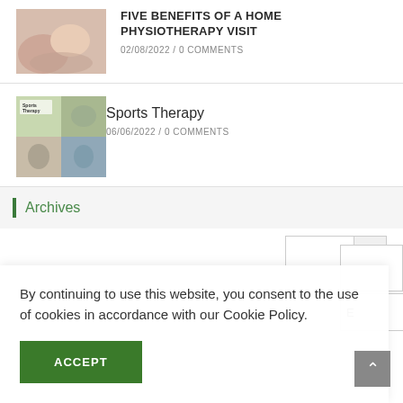FIVE BENEFITS OF A HOME PHYSIOTHERAPY VISIT
02/08/2022 /  0 COMMENTS
Sports Therapy
06/06/2022 /  0 COMMENTS
Archives
By continuing to use this website, you consent to the use of cookies in accordance with our Cookie Policy.
ACCEPT